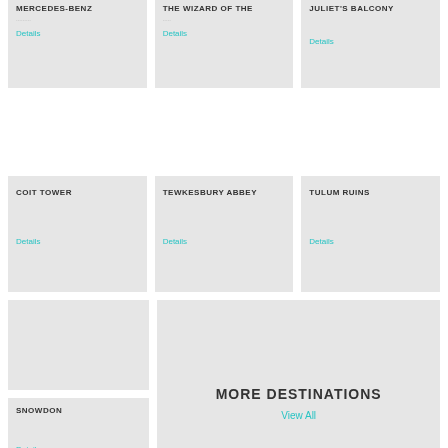MERCEDES-BENZ
Details
THE WIZARD OF THE
Details
JULIET'S BALCONY
Details
COIT TOWER
Details
TEWKESBURY ABBEY
Details
TULUM RUINS
Details
SNOWDON
Details
MORE DESTINATIONS
View All